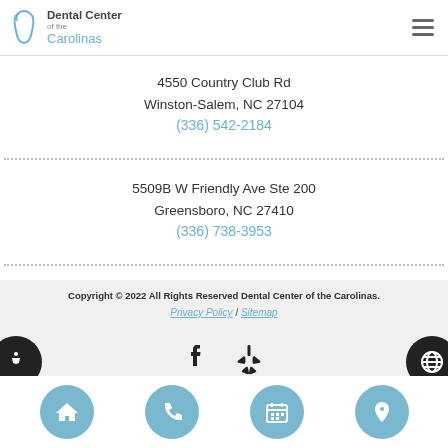Dental Center of the Carolinas
4550 Country Club Rd
Winston-Salem, NC 27104
(336) 542-2184
5509B W Friendly Ave Ste 200
Greensboro, NC 27410
(336) 738-3953
Copyright © 2022 All Rights Reserved Dental Center of the Carolinas.
Privacy Policy / Sitemap